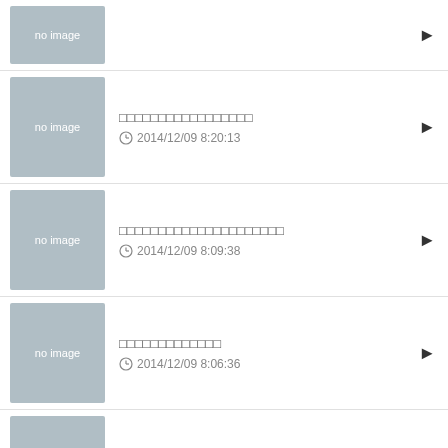no image | (partial row)
□□□□□□□□□□□□□□□□□ | 2014/12/09 8:20:13
□□□□□□□□□□□□□□□□□□□□□ | 2014/12/09 8:09:38
□□□□□□□□□□□□□ | 2014/12/09 8:06:36
□□□□□□□□□□□□□ | 2014/12/08 15:10:04